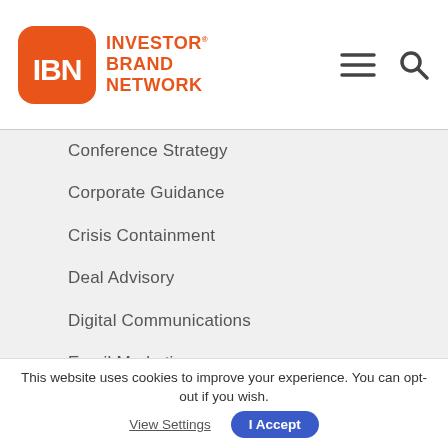IBN Investor Brand Network
Conference Strategy
Corporate Guidance
Crisis Containment
Deal Advisory
Digital Communications
Email Marketing
Financing Support
Goal Assessment & Development
Investor Day Execution
Investor Materials
InvestorOutreachCenter
IR Best Practices Audit
This website uses cookies to improve your experience. You can opt-out if you wish.  View Settings  I Accept